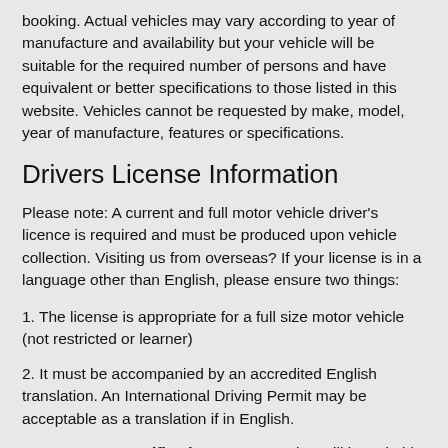booking. Actual vehicles may vary according to year of manufacture and availability but your vehicle will be suitable for the required number of persons and have equivalent or better specifications to those listed in this website. Vehicles cannot be requested by make, model, year of manufacture, features or specifications.
Drivers License Information
Please note: A current and full motor vehicle driver's licence is required and must be produced upon vehicle collection. Visiting us from overseas? If your license is in a language other than English, please ensure two things:
1. The license is appropriate for a full size motor vehicle (not restricted or learner)
2. It must be accompanied by an accredited English translation. An International Driving Permit may be acceptable as a translation if in English.
*Campervan specifications may vary but will be suitable for the required number of persons and have similar specifications to